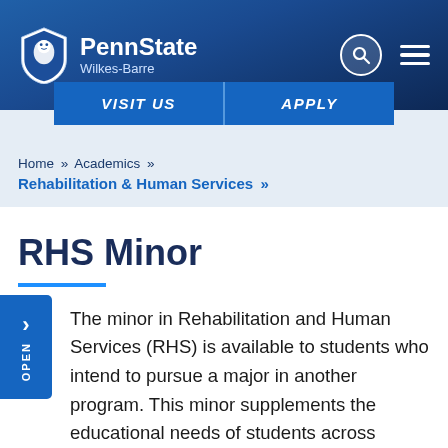PennState Wilkes-Barre
Home » Academics » Rehabilitation & Human Services »
RHS Minor
The minor in Rehabilitation and Human Services (RHS) is available to students who intend to pursue a major in another program. This minor supplements the educational needs of students across disciplines who wish to gain advanced